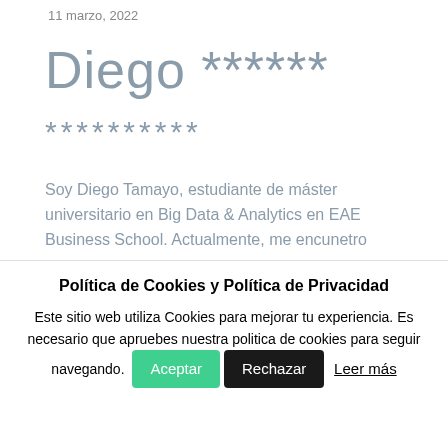11 marzo, 2022
Diego ******
**********
Soy Diego Tamayo, estudiante de máster universitario en Big Data & Analytics en EAE Business School. Actualmente, me encunetro
Política de Cookies y Política de Privacidad
Este sitio web utiliza Cookies para mejorar tu experiencia. Es necesario que apruebes nuestra politica de cookies para seguir navegando.
Aceptar   Rechazar   Leer más